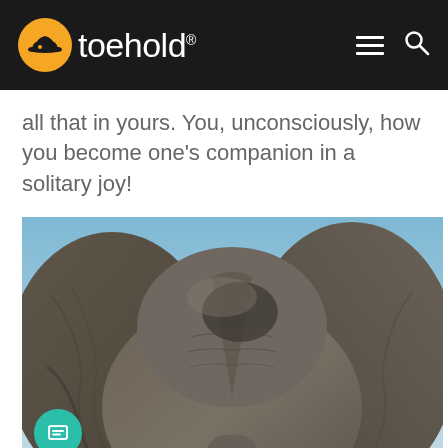toehold®
all that in yours. You, unconsciously, how you become one's companion in a solitary joy!
[Figure (photo): Close-up photograph of an African elephant's head and ears from a low angle against a blue sky background. The elephant's wrinkled grey skin, large ears spread wide, and the top of its head are prominently featured.]